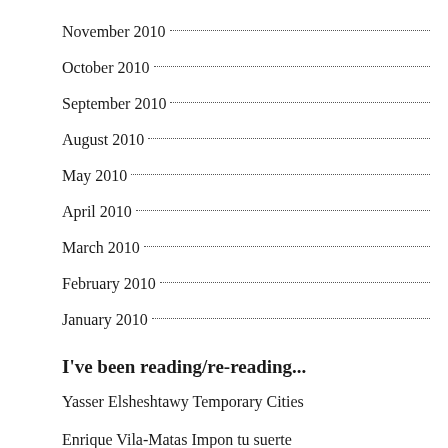November 2010
October 2010
September 2010
August 2010
May 2010
April 2010
March 2010
February 2010
January 2010
I've been reading/re-reading...
Yasser Elsheshtawy Temporary Cities
Enrique Vila-Matas Impon tu suerte
Alejandro Zambra Not to Read